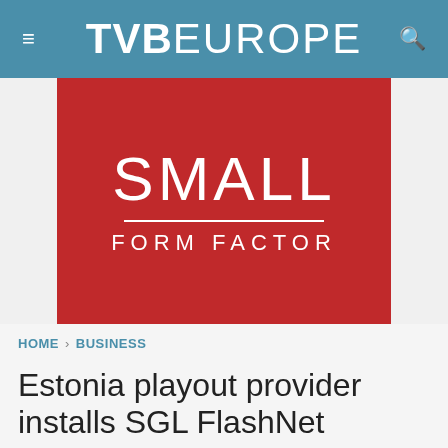TVB EUROPE
[Figure (illustration): Red square banner with white text reading 'SMALL FORM FACTOR' with a white horizontal divider line between the two words]
HOME › BUSINESS
Estonia playout provider installs SGL FlashNet